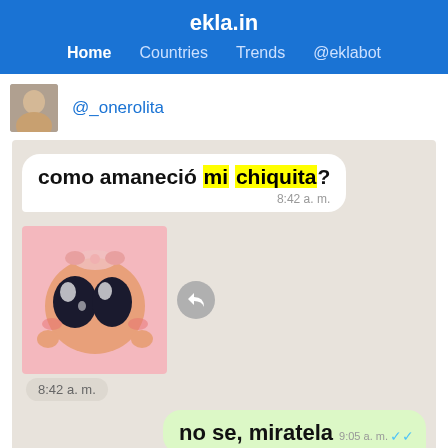ekla.in — Home Countries Trends @eklabot
@_onerolita
[Figure (screenshot): WhatsApp chat screenshot showing: incoming message 'como amaneció mi chiquita?' at 8:42 a.m. with 'mi chiquita' highlighted in yellow; an incoming sticker of a cute anime character with big dark eyes and rosy cheeks at 8:42 a.m.; an outgoing message 'no se, miratela' at 9:05 a.m. with double blue ticks.]